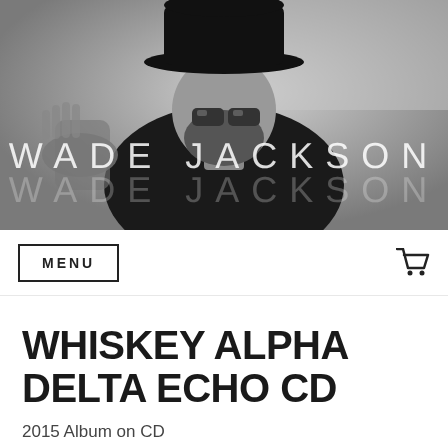[Figure (photo): Black and white photograph of a bearded man wearing a wide-brim hat and sunglasses, with 'WADE JACKSON' text overlaid in large thin white uppercase letters, and a faded duplicate of the name below it.]
MENU
WHISKEY ALPHA DELTA ECHO CD
2015 Album on CD